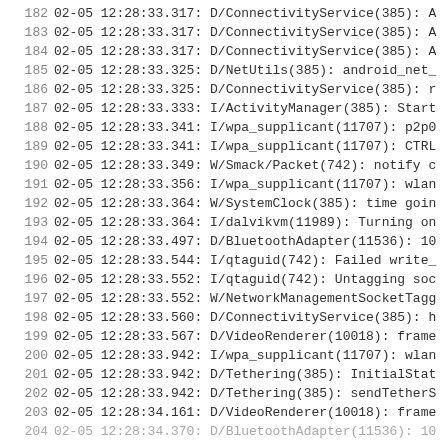182  02-05 12:28:33.317: D/ConnectivityService(385): A
183  02-05 12:28:33.317: D/ConnectivityService(385): A
184  02-05 12:28:33.317: D/ConnectivityService(385): A
185  02-05 12:28:33.325: D/NetUtils(385): android_net_
186  02-05 12:28:33.325: D/ConnectivityService(385): r
187  02-05 12:28:33.333: I/ActivityManager(385): Start
188  02-05 12:28:33.341: I/wpa_supplicant(11707): p2p0
189  02-05 12:28:33.341: I/wpa_supplicant(11707): CTRL
190  02-05 12:28:33.349: W/Smack/Packet(742): notify c
191  02-05 12:28:33.356: I/wpa_supplicant(11707): wlan
192  02-05 12:28:33.364: W/SystemClock(385): time goin
193  02-05 12:28:33.364: I/dalvikvm(11989): Turning on
194  02-05 12:28:33.497: D/BluetoothAdapter(11536): 10
195  02-05 12:28:33.544: I/qtaguid(742): Failed write_
196  02-05 12:28:33.552: I/qtaguid(742): Untagging soc
197  02-05 12:28:33.552: W/NetworkManagementSocketTagg
198  02-05 12:28:33.560: D/ConnectivityService(385): h
199  02-05 12:28:33.567: D/VideoRenderer(10018): frame
200  02-05 12:28:33.942: I/wpa_supplicant(11707): wlan
201  02-05 12:28:33.942: D/Tethering(385): InitialStat
202  02-05 12:28:33.942: D/Tethering(385): sendTetherS
203  02-05 12:28:34.161: D/VideoRenderer(10018): frame
204  02-05 12:28:34.370: D/BluetoothAdapter(11536): 10